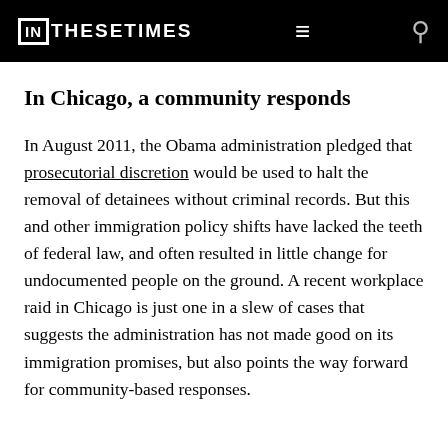IN THESE TIMES
In Chicago, a community responds
In August 2011, the Obama administration pledged that prosecutorial discretion would be used to halt the removal of detainees without criminal records. But this and other immigration policy shifts have lacked the teeth of federal law, and often resulted in little change for undocumented people on the ground. A recent workplace raid in Chicago is just one in a slew of cases that suggests the administration has not made good on its immigration promises, but also points the way forward for community-based responses.